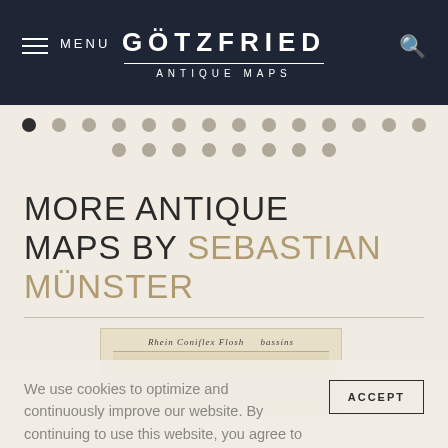GÖTZFRIED ANTIQUE MAPS — Menu / Search header
[Figure (other): Navigation dot indicators — two rows of circular dots, first dot in top row is active/dark]
MORE ANTIQUE MAPS BY SEBASTIAN MÜNSTER
[Figure (photo): Thumbnail of an antique map with old German/Latin text at top]
We use cookies to optimize and continuously improve our website. By continuing to use this website, you agree to the use of cookies. Further information on cookies can be found in our Privacy Statement.